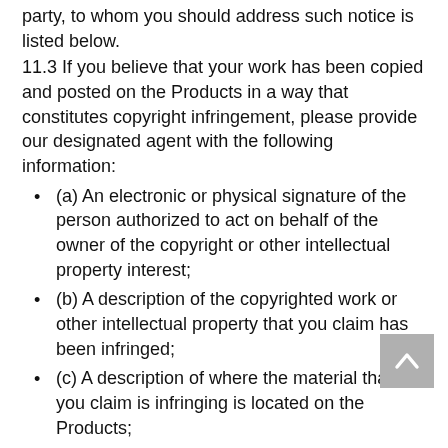party, to whom you should address such notice is listed below.
11.3 If you believe that your work has been copied and posted on the Products in a way that constitutes copyright infringement, please provide our designated agent with the following information:
(a) An electronic or physical signature of the person authorized to act on behalf of the owner of the copyright or other intellectual property interest;
(b) A description of the copyrighted work or other intellectual property that you claim has been infringed;
(c) A description of where the material that you claim is infringing is located on the Products;
(d) Your address, telephone number, and email address;
(e) A statement by you that you